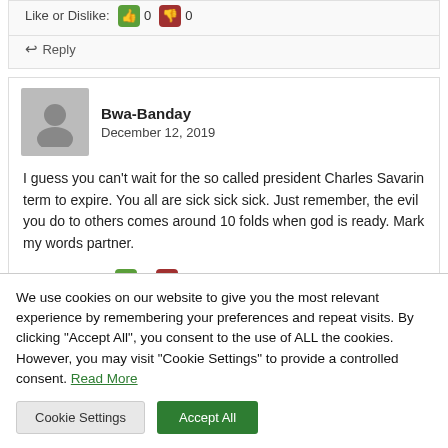Like or Dislike: 0 0
Reply
Bwa-Banday
December 12, 2019
I guess you can't wait for the so called president Charles Savarin term to expire. You all are sick sick sick. Just remember, the evil you do to others comes around 10 folds when god is ready. Mark my words partner.
Like or Dislike: 0 0
We use cookies on our website to give you the most relevant experience by remembering your preferences and repeat visits. By clicking "Accept All", you consent to the use of ALL the cookies. However, you may visit "Cookie Settings" to provide a controlled consent. Read More